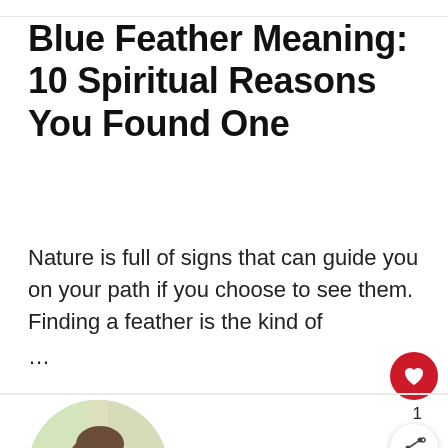Blue Feather Meaning: 10 Spiritual Reasons You Found One
Nature is full of signs that can guide you on your path if you choose to see them. Finding a feather is the kind of …
[Figure (photo): Circular cropped photo of a young woman, partially visible, with blurred greenish background]